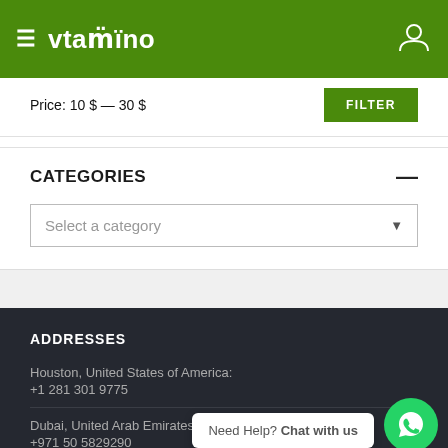vtamino
Price: 10 $ — 30 $
CATEGORIES
Select a category
ADDRESSES
Houston, United States of America:
+1 281 301 9775
Dubai, United Arab Emirates:
+971 50 5829290
Need Help? Chat with us